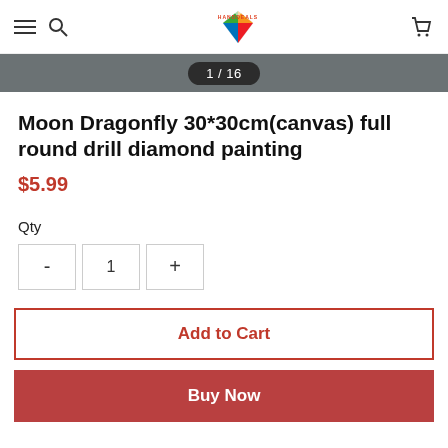HANDDEALS - navigation header with hamburger menu, search icon, logo, and cart icon
[Figure (screenshot): Image carousel indicator showing 1 / 16 on a grey background strip]
Moon Dragonfly 30*30cm(canvas) full round drill diamond painting
$5.99
Qty
- 1 +
Add to Cart
Buy Now